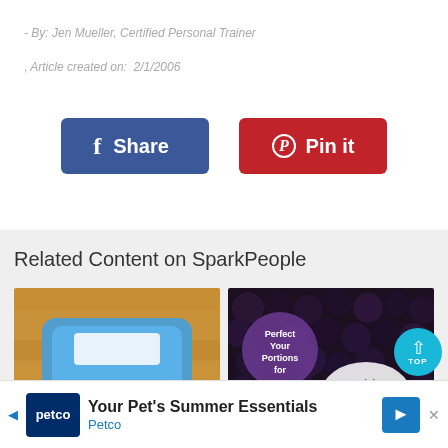- By: Jen Mueller, Certified Personal Trainer
, Article created on:  2/1/2006
[Figure (other): Facebook Share button (blue, rounded rectangle) and Pinterest Pin it button (red, rounded rectangle)]
Related Content on SparkPeople
[Figure (photo): Feet standing on a blue bathroom scale on a wooden floor]
[Figure (photo): Blackberries background with overlay text: Perfect Your Portions for Weight Loss]
[Figure (other): Petco advertisement bar: Your Pet's Summer Essentials - Petco, with navigation arrow and TOP button]